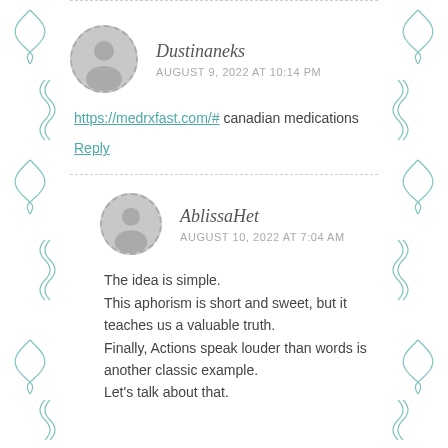Dustinaneks
AUGUST 9, 2022 AT 10:14 PM
https://medrxfast.com/# canadian medications
Reply
AblissaHet
AUGUST 10, 2022 AT 7:04 AM
The idea is simple.
This aphorism is short and sweet, but it teaches us a valuable truth.
Finally, Actions speak louder than words is another classic example.
Let's talk about that.